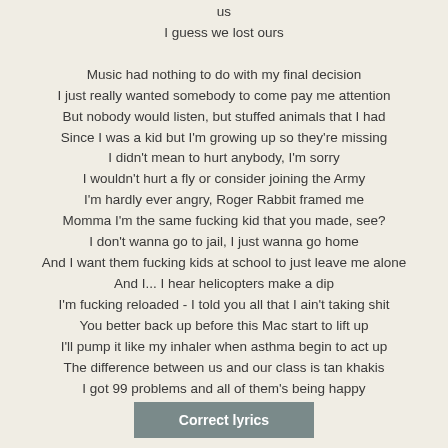us
I guess we lost ours

Music had nothing to do with my final decision
I just really wanted somebody to come pay me attention
But nobody would listen, but stuffed animals that I had
Since I was a kid but I'm growing up so they're missing
I didn't mean to hurt anybody, I'm sorry
I wouldn't hurt a fly or consider joining the Army
I'm hardly ever angry, Roger Rabbit framed me
Momma I'm the same fucking kid that you made, see?
I don't wanna go to jail, I just wanna go home
And I want them fucking kids at school to just leave me alone
And I... I hear helicopters make a dip
I'm fucking reloaded - I told you all that I ain't taking shit
You better back up before this Mac start to lift up
I'll pump it like my inhaler when asthma begin to act up
The difference between us and our class is tan khakis
I got 99 problems and all of them's being happy
Correct lyrics